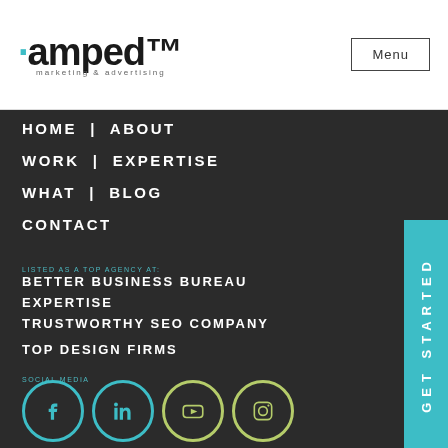[Figure (logo): Amped marketing & advertising logo with teal dots]
Menu
HOME | ABOUT
WORK | EXPERTISE
WHAT | BLOG
CONTACT
LISTED AS A TOP AGENCY AT:
BETTER BUSINESS BUREAU
EXPERTISE
TRUSTWORTHY SEO COMPANY
TOP DESIGN FIRMS
SOCIAL MEDIA
[Figure (other): Social media icons: Facebook, LinkedIn, YouTube, Instagram in teal and green circles]
GET STARTED